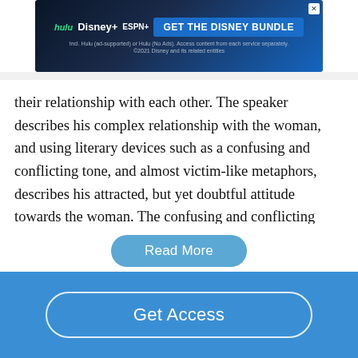[Figure (screenshot): Disney Bundle advertisement banner showing Hulu, Disney+, ESPN+ logos with 'GET THE DISNEY BUNDLE' call-to-action button and small print text]
their relationship with each other. The speaker describes his complex relationship with the woman, and using literary devices such as a confusing and conflicting tone, and almost victim-like metaphors, describes his attracted, but yet doubtful attitude towards the woman. The confusing and conflicting tone set within the story helps describe and expand the complex attitudes of the speaker. The speaker's use of this tone shows how he has conflicted feelings to the woman, as if he wants to chase after her, but he knows that nothing good may come out of it.…
Read More
Get Access